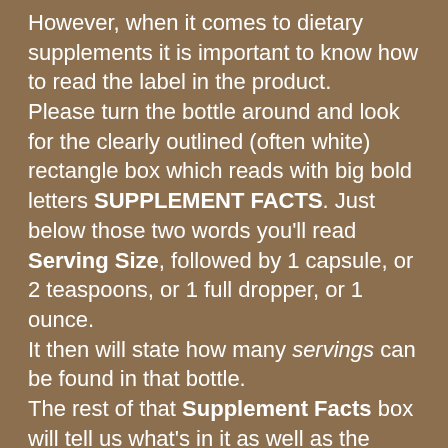However, when it comes to dietary supplements it is important to know how to read the label in the product. Please turn the bottle around and look for the clearly outlined (often white) rectangle box which reads with big bold letters SUPPLEMENT FACTS. Just below those two words you'll read Serving Size, followed by 1 capsule, or 2 teaspoons, or 1 full dropper, or 1 ounce. It then will state how many servings can be found in that bottle. The rest of that Supplement Facts box will tell us what's in it as well as the grams, milligrams/milliliter, or micrograms.